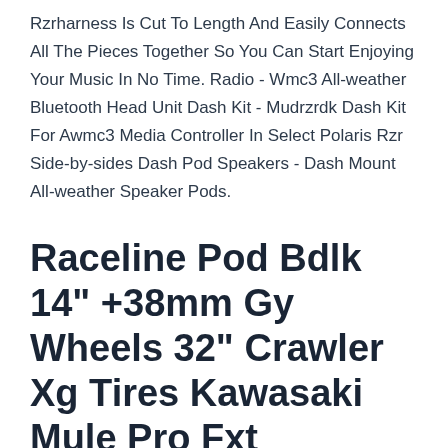Rzrharness Is Cut To Length And Easily Connects All The Pieces Together So You Can Start Enjoying Your Music In No Time. Radio - Wmc3 All-weather Bluetooth Head Unit Dash Kit - Mudrzrdk Dash Kit For Awmc3 Media Controller In Select Polaris Rzr Side-by-sides Dash Pod Speakers - Dash Mount All-weather Speaker Pods.
Raceline Pod Bdlk 14" +38mm Gy Wheels 32" Crawler Xg Tires Kawasaki Mule Pro Fxt
Sti Hd9 15" Bdlk Wheels Mb (6+1) 28" Crawler Xg Tires Kawasaki Mule Pro Fxt. Fuel Maverick Bdlk Bk 15" Wheels 30" Xc450 Tires Kawasaki Mule Pro Fxt